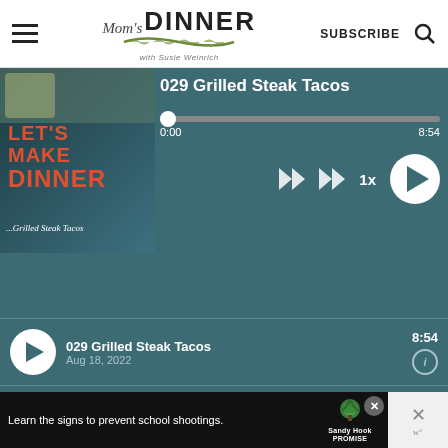[Figure (screenshot): Website header for Mom's Dinner with Susie Weinrich, showing hamburger menu, logo, SUBSCRIBE text, and search icon]
[Figure (screenshot): Podcast player widget on teal/dark background showing episode 029 Grilled Steak Tacos with thumbnail, progress bar at 0:00 of 8:54, playback controls with rewind, fast-forward, 1x speed, and play button]
029 Grilled Steak Tacos
0:00
8:54
1x
029 Grilled Steak Tacos
Aug 18, 2022
8:54
028 Italian Salad
Aug 16, 2022
5:40
027 Fresh Basil Vinaigrette
Aug 16, 2022
6:05
[Figure (screenshot): Advertisement banner: Learn the signs to prevent school shootings. Sandy Hook Promise logo with tree graphic]